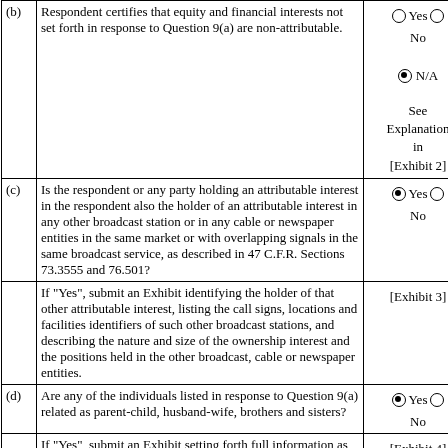|  | Question | Answer |
| --- | --- | --- |
| (b) | Respondent certifies that equity and financial interests not set forth in response to Question 9(a) are non-attributable. | ○ Yes ○ No
● N/A
See Explanation in [Exhibit 2] |
| (c) | Is the respondent or any party holding an attributable interest in the respondent also the holder of an attributable interest in any other broadcast station or in any cable or newspaper entities in the same market or with overlapping signals in the same broadcast service, as described in 47 C.F.R. Sections 73.3555 and 76.501? | ● Yes ○ No |
|  | If "Yes", submit an Exhibit identifying the holder of that other attributable interest, listing the call signs, locations and facilities identifiers of such other broadcast stations, and describing the nature and size of the ownership interest and the positions held in the other broadcast, cable or newspaper entities. | [Exhibit 3] |
| (d) | Are any of the individuals listed in response to Question 9(a) related as parent-child, husband-wife, brothers and sisters? | ● Yes ○ No |
|  | If "Yes", submit an Exhibit setting forth full information as to the family relationship | [Exhibit 4] |
| (e) | Is respondent seeking an attribution exemption for any officer or director with duties unrelated to the licensee's broadcast activities? | ○ Yes ● |